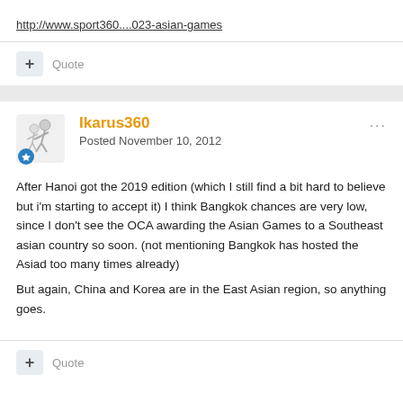http://www.sport360....023-asian-games
+ Quote
Ikarus360
Posted November 10, 2012
After Hanoi got the 2019 edition (which I still find a bit hard to believe but i'm starting to accept it) I think Bangkok chances are very low, since I don't see the OCA awarding the Asian Games to a Southeast asian country so soon. (not mentioning Bangkok has hosted the Asiad too many times already)

But again, China and Korea are in the East Asian region, so anything goes.
+ Quote